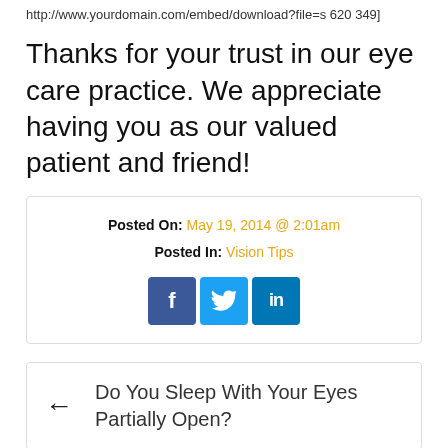http://www.yourdomain.com/embed/download?file=s 620 349]
Thanks for your trust in our eye care practice. We appreciate having you as our valued patient and friend!
Posted On: May 19, 2014 @ 2:01am
Posted In: Vision Tips
[Figure (other): Social media share buttons: Facebook, Twitter, LinkedIn]
← Do You Sleep With Your Eyes Partially Open?